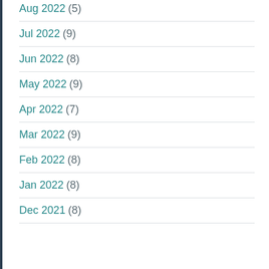Aug 2022 (5)
Jul 2022 (9)
Jun 2022 (8)
May 2022 (9)
Apr 2022 (7)
Mar 2022 (9)
Feb 2022 (8)
Jan 2022 (8)
Dec 2021 (8)